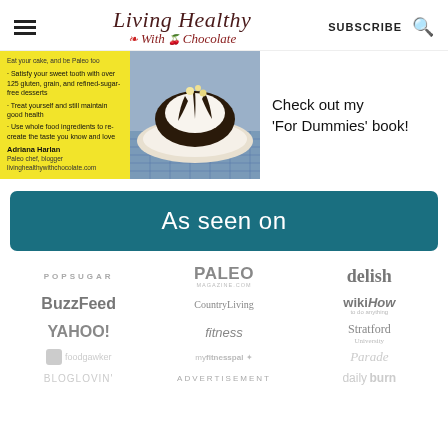Living Healthy With Chocolate | SUBSCRIBE
[Figure (photo): Book advertisement banner showing yellow background with bullet points about gluten-free desserts and a photo of a chocolate-covered dessert on a blue checkered cloth. Author: Adriana Harlan, Paleo chef, blogger, livinghealthywithchocolate.com]
Check out my 'For Dummies' book!
As seen on
[Figure (logo): Grid of media logos: POPSUGAR, PALEO MAGAZINE.COM, delish, BuzzFeed, CountryLiving, wikiHow, YAHOO!, fitness, Stratford University, foodgawker, myfitnesspal, Parade, BLOGLOVIN', daily burn]
ADVERTISEMENT